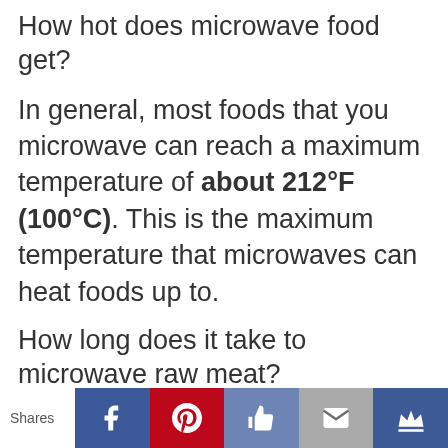How hot does microwave food get?
In general, most foods that you microwave can reach a maximum temperature of about 212°F (100°C). This is the maximum temperature that microwaves can heat foods up to.
How long does it take to microwave raw meat?
Pat the steak down gently with paper towels. Then, season both sides with salt, pepper, or
Shares [Facebook] [Pinterest] [Like] [Mail] [Crown]